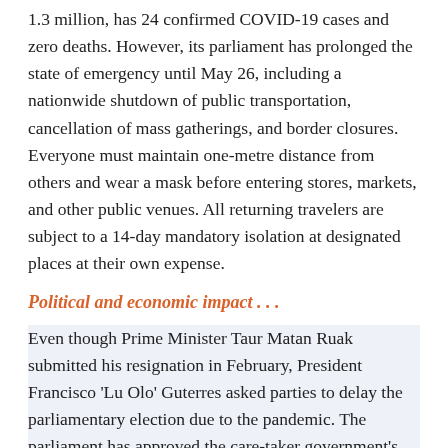1.3 million, has 24 confirmed COVID-19 cases and zero deaths. However, its parliament has prolonged the state of emergency until May 26, including a nationwide shutdown of public transportation, cancellation of mass gatherings, and border closures. Everyone must maintain one-metre distance from others and wear a mask before entering stores, markets, and other public venues. All returning travelers are subject to a 14-day mandatory isolation at designated places at their own expense.
Political and economic impact . . .
Even though Prime Minister Taur Matan Ruak submitted his resignation in February, President Francisco 'Lu Olo' Guterres asked parties to delay the parliamentary election due to the pandemic. The parliament has approved the care-taker government's request for C$353 million from the country's Petroleum Fund, which will be used for purchase of medical equipment, assistance for small businesses, cash transfers for households, supply of rice, and stipends for Timorese students abroad. However, experts worry that the state of emergency will decrease the likelihood of 350,000 informal workers and businesses